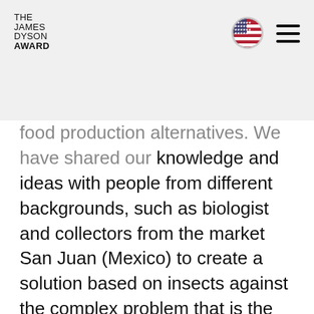THE JAMES DYSON AWARD
food production alternatives. We have shared our knowledge and ideas with people from different backgrounds, such as biologist and collectors from the market San Juan (Mexico) to create a solution based on insects against the complex problem that is the food crisis. We have been developing many ideas, such as prefabricated nests, nutritious and delicious recipes and systems that can improve traditional food production. In fact, we printed our first nest prototype to see how the ants interact with it and how they adapt it to start its colony.